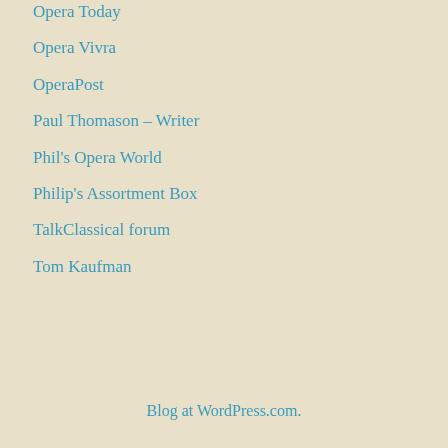Opera Today
Opera Vivra
OperaPost
Paul Thomason – Writer
Phil's Opera World
Philip's Assortment Box
TalkClassical forum
Tom Kaufman
Blog at WordPress.com.